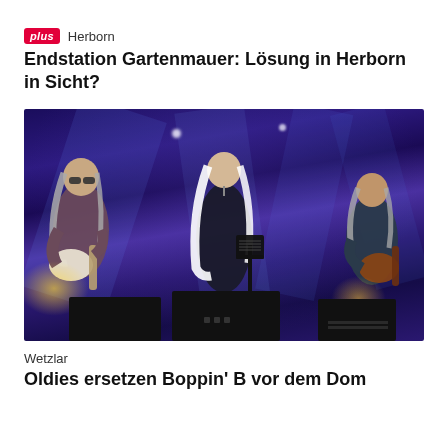plus Herborn
Endstation Gartenmauer: Lösung in Herborn in Sicht?
[Figure (photo): Concert photo showing three musicians on a stage with blue lighting. Left: guitarist with long grey hair playing electric guitar. Center: singer with long white hair standing at a music stand. Right: guitarist with grey hair playing guitar. Stage monitors visible in foreground.]
Wetzlar
Oldies ersetzen Boppin' B vor dem Dom